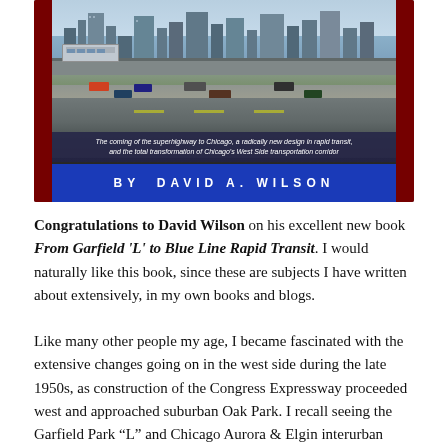[Figure (photo): Photograph of a book cover for 'From Garfield L to Blue Line Rapid Transit' by David A. Wilson, showing a city highway/expressway scene with an elevated train and Chicago skyline. The cover has dark red borders, a caption bar in dark blue-gray italic text describing the book's subject, and a bright blue author bar at the bottom with the author name in white capitals.]
Congratulations to David Wilson on his excellent new book From Garfield 'L' to Blue Line Rapid Transit. I would naturally like this book, since these are subjects I have written about extensively, in my own books and blogs.
Like many other people my age, I became fascinated with the extensive changes going on in the west side during the late 1950s, as construction of the Congress Expressway proceeded west and approached suburban Oak Park. I recall seeing the Garfield Park “L” and Chicago Aurora & Elgin interurban trains, but I never rode on them. We mostly took the Lake Street “L” downtown, and until 1962, that still ran on the ground west of Laramie.